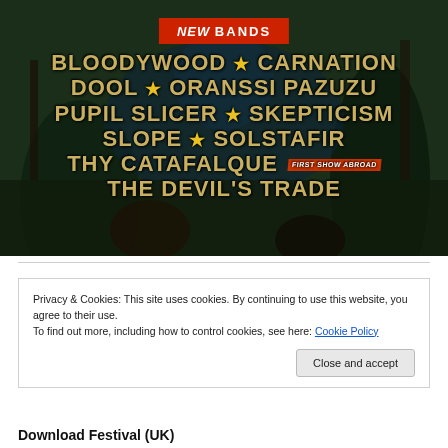[Figure (illustration): Concert/festival poster with dark fantasy painted background showing robed figures in a forest scene. Red banner reads 'NEW BANDS' at top. Band names listed in gold/tan bold font: BLOODYWOOD, CARNATION, DOOL, ORANSSI PAZUZU, PUPIL SLICER, SKEPTICISM, SLOPE, SOLSTAFIR, THY CATAFALQUE (with 'FIRST SHOW ABROAD' badge), THE DEVIL'S TRADE. Gold stars used as separators.]
Privacy & Cookies: This site uses cookies. By continuing to use this website, you agree to their use.
To find out more, including how to control cookies, see here: Cookie Policy
Close and accept
Download Festival (UK)